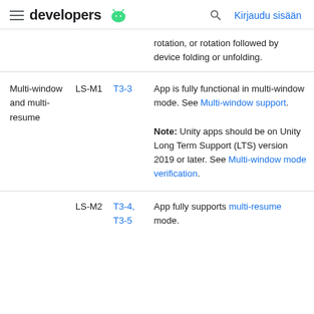developers | Kirjaudu sisään
| Feature | Level | Test | Description |
| --- | --- | --- | --- |
|  |  |  | rotation, or rotation followed by device folding or unfolding. |
| Multi-window and multi-resume | LS-M1 | T3-3 | App is fully functional in multi-window mode. See Multi-window support.

Note: Unity apps should be on Unity Long Term Support (LTS) version 2019 or later. See Multi-window mode verification. |
|  | LS-M2 | T3-4, T3-5 | App fully supports multi-resume mode. |